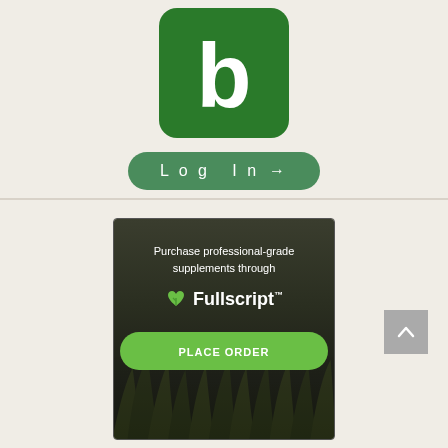[Figure (logo): Green rounded square logo with white lowercase letter 'b' — app or brand logo]
[Figure (screenshot): Log In button with arrow on green pill-shaped background]
[Figure (infographic): Fullscript advertisement: dark background with grass/nature texture. Text reads 'Purchase professional-grade supplements through Fullscript™' with a green heart-leaf icon and a green 'PLACE ORDER' button.]
[Figure (illustration): Gray scroll-to-top button with upward chevron arrow]